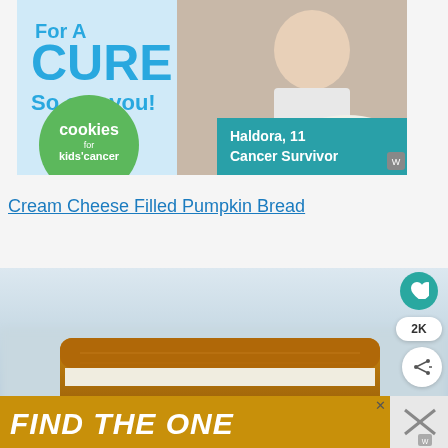[Figure (photo): Advertisement banner for 'Cookies for Kids Cancer' charity. Shows a smiling girl holding cookies, green circle logo with 'cookies for kids cancer' text, teal banner with 'Haldora, 11 Cancer Survivor', text reading 'For A CURE So can you!']
Cream Cheese Filled Pumpkin Bread
[Figure (photo): Close-up photo of pumpkin bread with cream cheese filling, showing sliced loaf with golden-orange bread exterior and white cream cheese layer inside, with blurred light background]
[Figure (photo): Bottom advertisement banner with golden/yellow background reading 'FIND THE ONE' in white italic bold text, with a dog image on the right side and a close X button]